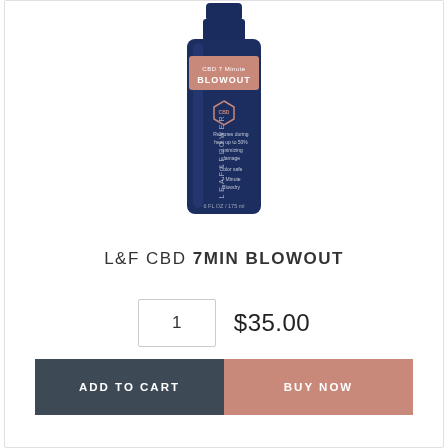[Figure (photo): A tall dark navy blue bottle of L&F CBD 7 Minute Blowout hair product by Leaf & Flower, with a rose gold label area near the top reading 'CBD 7 Minute BLOWOUT'. The bottle has a hexagonal badge and text on the side. Volume: 6 FL OZ / 175 ml.]
L&F CBD 7MIN BLOWOUT
1   $35.00
ADD TO CART   BUY NOW